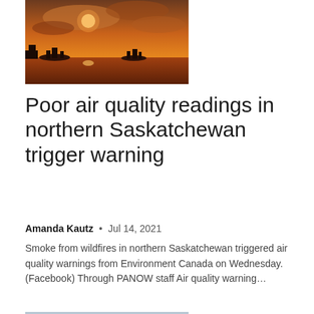[Figure (photo): Smoky orange-hued sunset sky over a lake with silhouettes of trees and two small islands in the distance]
Poor air quality readings in northern Saskatchewan trigger warning
Amanda Kautz  •  Jul 14, 2021
Smoke from wildfires in northern Saskatchewan triggered air quality warnings from Environment Canada on Wednesday. (Facebook) Through PANOW staff Air quality warning...
[Figure (photo): Busy outdoor street market or shopping area with people walking, colorful signs and storefronts visible in the background]